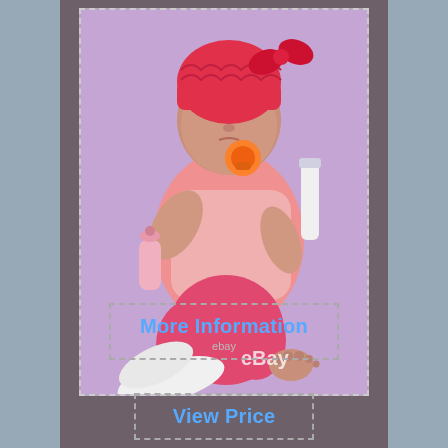[Figure (photo): Reborn baby doll dressed in pink outfit with red/pink knitted hat and bow, holding a pacifier, lying on a purple blanket with accessories including a bottle and diaper, with eBay watermark]
More Information
ebay
View Price